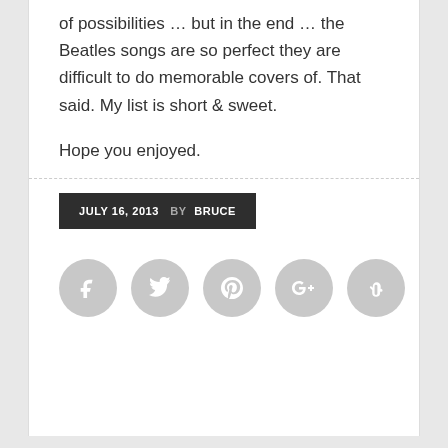of possibilities … but in the end … the Beatles songs are so perfect they are difficult to do memorable covers of. That said. My list is short & sweet.
Hope you enjoyed.
JULY 16, 2013  BY BRUCE
[Figure (infographic): Row of five social media share icon circles (Facebook, Twitter, Pinterest, Google+, StumbleUpon) in light gray]